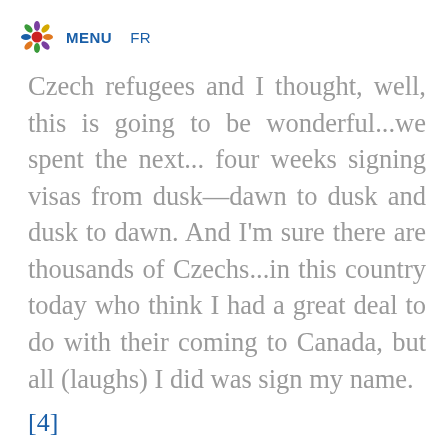MENU  FR
Czech refugees and I thought, well, this is going to be wonderful...we spent the next... four weeks signing visas from dusk—dawn to dusk and dusk to dawn. And I'm sure there are thousands of Czechs...in this country today who think I had a great deal to do with their coming to Canada, but all (laughs) I did was sign my name.
[4]